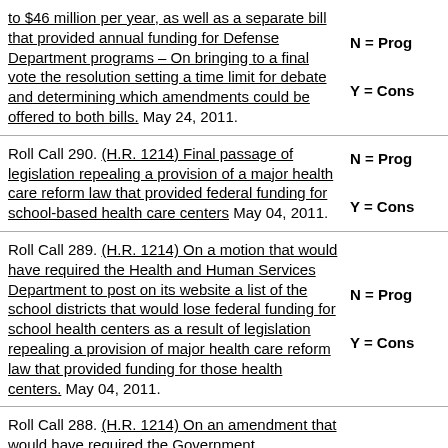to $46 million per year, as well as a separate bill that provided annual funding for Defense Department programs – On bringing to a final vote the resolution setting a time limit for debate and determining which amendments could be offered to both bills. May 24, 2011.
N = Prog
Y = Cons
Roll Call 290. (H.R. 1214) Final passage of legislation repealing a provision of a major health care reform law that provided federal funding for school-based health care centers May 04, 2011.
N = Prog
Y = Cons
Roll Call 289. (H.R. 1214) On a motion that would have required the Health and Human Services Department to post on its website a list of the school districts that would lose federal funding for school health centers as a result of legislation repealing a provision of major health care reform law that provided funding for those health centers. May 04, 2011.
N = Prog
Y = Cons
Roll Call 288. (H.R. 1214) On an amendment that would have required the Government Accountability Office (GAO—which carries out studies, audits, and investigations for Congress) to conduct a study on
N = Prog